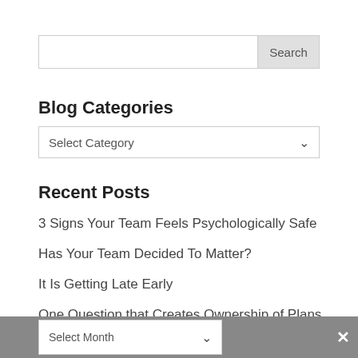[Figure (screenshot): Search input field with Search button on the right]
Blog Categories
[Figure (screenshot): Select Category dropdown]
Recent Posts
3 Signs Your Team Feels Psychologically Safe
Has Your Team Decided To Matter?
It Is Getting Late Early
One Question that Creates Ownership of Plans
Blog Archives
[Figure (screenshot): Select Month dropdown and Share This button bar at the bottom]